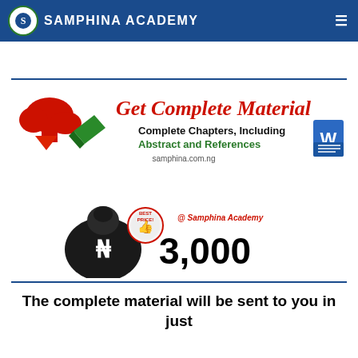SAMPHINA ACADEMY
Problems Of School Management And Students Academic Performance In Secondary Schools
[Figure (infographic): Get Complete Material promotional banner with download icon, green book, Word icon. Text: Get Complete Material, Complete Chapters, Including Abstract and References, samphina.com.ng]
[Figure (infographic): Money bag with Naira sign and Best Price badge showing price ₦3,000 @ Samphina Academy]
The complete material will be sent to you in just